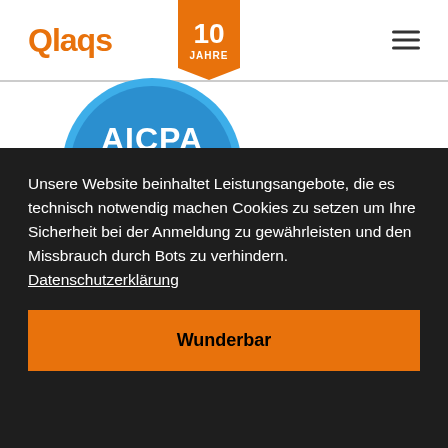[Figure (logo): QlaqS logo in orange text with stylized S]
[Figure (logo): 10 JAHRE orange ribbon/badge]
[Figure (logo): AICPA SOC blue circular certification badge]
Unsere Website beinhaltet Leistungsangebote, die es technisch notwendig machen Cookies zu setzen um Ihre Sicherheit bei der Anmeldung zu gewährleisten und den Missbrauch durch Bots zu verhindern.  Datenschutzerklärung
Wunderbar